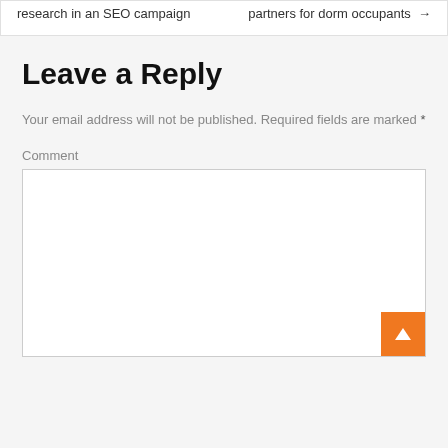research in an SEO campaign
partners for dorm occupants →
Leave a Reply
Your email address will not be published. Required fields are marked *
Comment